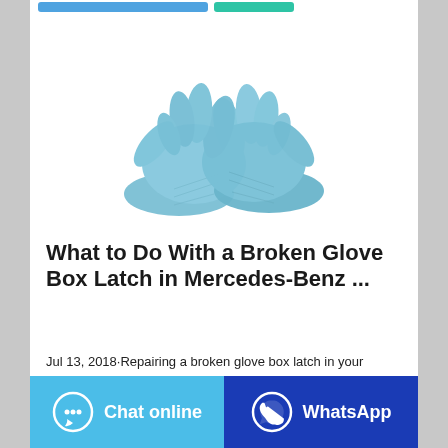[Figure (photo): Two blue nitrile/latex gloves crossed over each other on a white background]
What to Do With a Broken Glove Box Latch in Mercedes-Benz ...
Jul 13, 2018·Repairing a broken glove box latch in your Mercedes isn't typically a complicated process. Usually just the glove box door can be removed to get to the latch
Chat online | WhatsApp